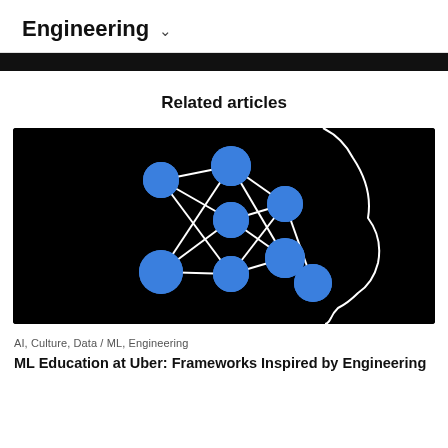Engineering ˅
Related articles
[Figure (illustration): Neural network diagram with blue nodes connected by white lines overlaid on the silhouette outline of a human head profile, on a black background.]
AI, Culture, Data / ML, Engineering
ML Education at Uber: Frameworks Inspired by Engineering